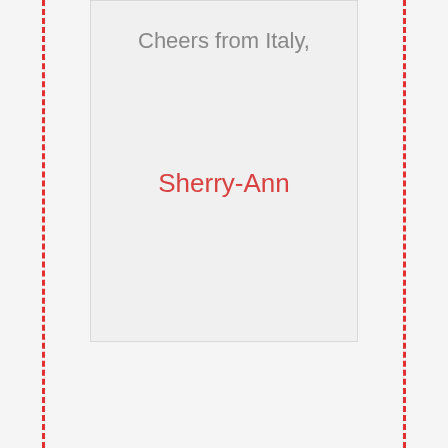Cheers from Italy,
Sherry-Ann
Andoitz (Spain)